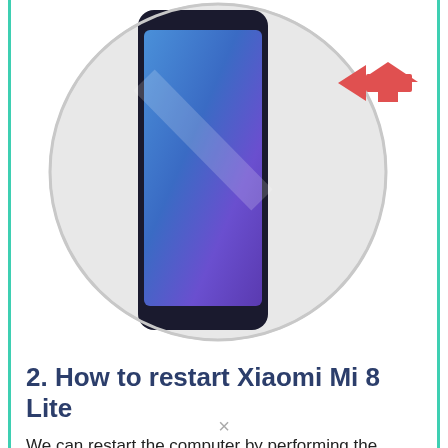[Figure (illustration): A circular illustration showing a Xiaomi Mi 8 Lite smartphone with a blue gradient wallpaper, and a red arrow pointing left on the upper right of the circle, indicating a button press action.]
2. How to restart Xiaomi Mi 8 Lite
We can restart the computer by performing the following procedure:
Step 1
Please leave a comment if
×